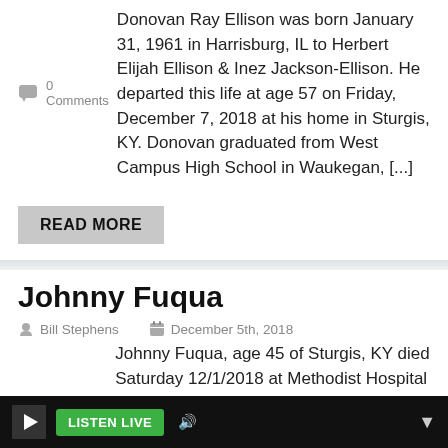0 Comments  Donovan Ray Ellison was born January 31, 1961 in Harrisburg, IL to Herbert Elijah Ellison & Inez Jackson-Ellison. He departed this life at age 57 on Friday, December 7, 2018 at his home in Sturgis, KY. Donovan graduated from West Campus High School in Waukegan, [...]
READ MORE
Johnny Fuqua
Bill Stephens   December 5th, 2018
0 Comments  Johnny Fuqua, age 45 of Sturgis, KY died Saturday 12/1/2018 at Methodist Hospital in Henderson, KY. He was a member of Whispering Meadows and Water & Fire Departments. He loved fishing, hunting, camping, and dining. He was a loving caring man. He was...
LISTEN LIVE